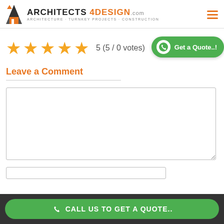ARCHITECTS 4DESIGN.com — ARCHITECTURE · TURNKEY PROJECTS · CONSTRUCTION
[Figure (infographic): Five orange star rating icons and rating text '5 (5 / 0 votes)' with a green 'Get a Quote..!' button featuring WhatsApp phone icon]
Leave a Comment
Comment text area (empty)
Name input field (empty)
CALL US TO GET A QUOTE..